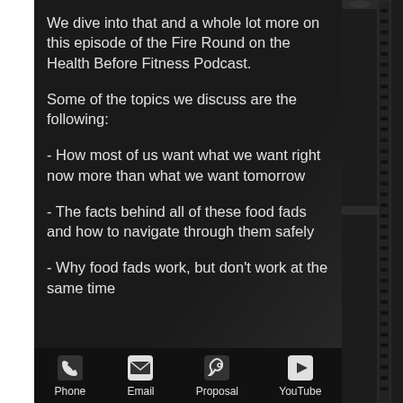We dive into that and a whole lot more on this episode of the Fire Round on the Health Before Fitness Podcast.
Some of the topics we discuss are the following:
- How most of us want what we want right now more than what we want tomorrow
- The facts behind all of these food fads and how to navigate through them safely
- Why food fads work, but don't work at the same time
[Figure (infographic): Navigation bar with four icons: Phone, Email, Proposal, YouTube]
[Figure (photo): Gym equipment (power rack) visible on right side of image, dark background]